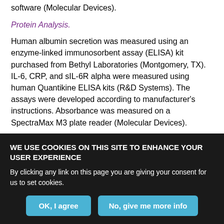software (Molecular Devices).
Protein Analysis.
Human albumin secretion was measured using an enzyme-linked immunosorbent assay (ELISA) kit purchased from Bethyl Laboratories (Montgomery, TX). IL-6, CRP, and sIL-6R alpha were measured using human Quantikine ELISA kits (R&D Systems). The assays were developed according to manufacturer's instructions. Absorbance was measured on a SpectraMax M3 plate reader (Molecular Devices).
IL-6 Stimulation Studies.
WE USE COOKIES ON THIS SITE TO ENHANCE YOUR USER EXPERIENCE
By clicking any link on this page you are giving your consent for us to set cookies.